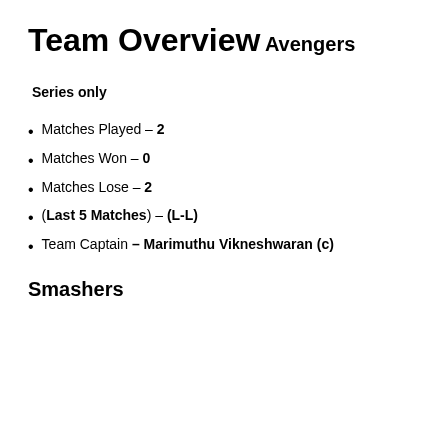Team Overview
Avengers
Series only
Matches Played – 2
Matches Won – 0
Matches Lose – 2
(Last 5 Matches) – (L-L)
Team Captain – Marimuthu Vikneshwaran (c)
Smashers